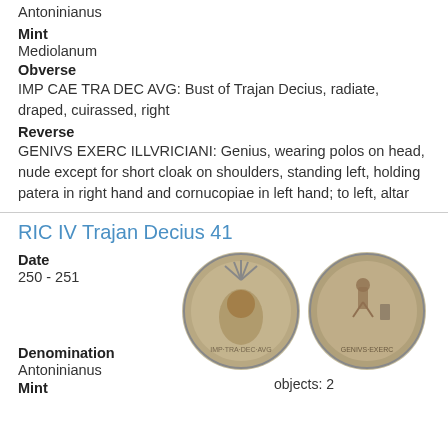Antoninianus
Mint
Mediolanum
Obverse
IMP CAE TRA DEC AVG: Bust of Trajan Decius, radiate, draped, cuirassed, right
Reverse
GENIVS EXERC ILLVRICIANI: Genius, wearing polos on head, nude except for short cloak on shoulders, standing left, holding patera in right hand and cornucopiae in left hand; to left, altar
RIC IV Trajan Decius 41
Date
250 - 251
[Figure (photo): Two ancient Roman silver coins side by side. Left coin shows bust of Trajan Decius with radiate crown. Right coin shows reverse with standing figure.]
objects: 2
Denomination
Antoninianus
Mint